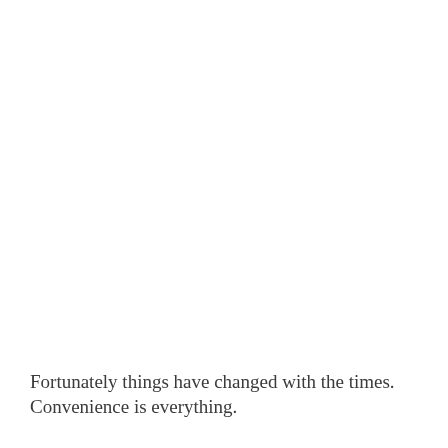Fortunately things have changed with the times. Convenience is everything.